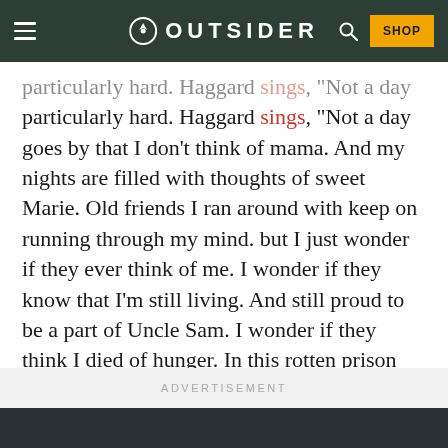OUTSIDER
particularly hard. Haggard sings, “Not a day goes by that I don’t think of mama. And my nights are filled with thoughts of sweet Marie. Old friends I ran around with keep on running through my mind. but I just wonder if they ever think of me. I wonder if they know that I’m still living. And still proud to be a part of Uncle Sam. I wonder if they think I died of hunger. In this rotten prison camp in Vietnam.”
ADVERTISEMENT